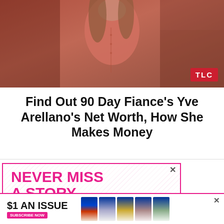[Figure (photo): Woman in salmon/coral colored sleeveless dress, partial torso shot. TLC logo badge visible in lower right corner.]
Find Out 90 Day Fiance’s Yve Arellano’s Net Worth, How She Makes Money
[Figure (infographic): Advertisement for US Weekly magazine subscription. Pink bordered box with diagonal pattern, reading 'NEVER MISS A STORY' in large pink bold text with multiple magazine covers shown below.]
[Figure (infographic): Bottom banner ad for US Weekly subscription. '$1 AN ISSUE' with 'SUBSCRIBE NOW' button and magazine cover thumbnails. Close X button on right.]